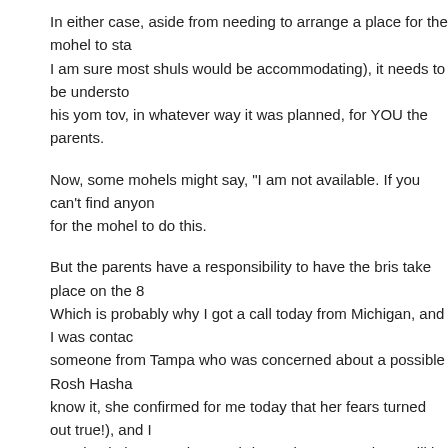In either case, aside from needing to arrange a place for the mohel to sta... I am sure most shuls would be accommodating), it needs to be understo... his yom tov, in whatever way it was planned, for YOU the parents.
Now, some mohels might say, "I am not available. If you can't find anyon... for the mohel to do this.
But the parents have a responsibility to have the bris take place on the 8... Which is probably why I got a call today from Michigan, and I was contac... someone from Tampa who was concerned about a possible Rosh Hasha... know it, she confirmed for me today that her fears turned out true!), and I... Maryland about another RH bris. And I am sure there will be many brisse... 3 day yom tov.
Hopefully the parents and the mohel can come to an agreement. The mo... and the parents should be sensitive and offer a generous compensation... out in a significant way.
Mazal Tov to all!
Posted by A.B. at 9:30 PM
Labels: 3-day yom tov, commuting, Rosh Hashana